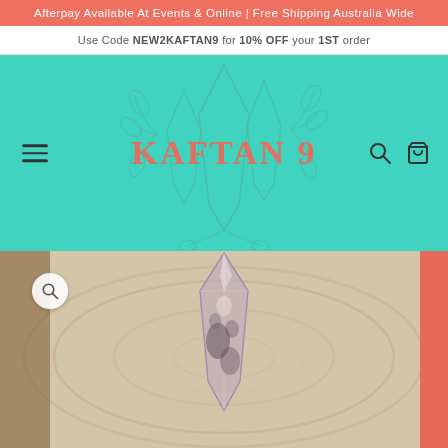Afterpay Available At Events & Online | Free Shipping Australia Wide
Use Code NEW2KAFTAN9 for 10% OFF your 1ST order
[Figure (logo): Kaftan9 logo with teal background, crystal/gem illustration and coral-colored brand name text KAFTAN 9, hamburger menu on left, search and cart icons on right]
[Figure (photo): Close-up photo of a crystal or gemstone pendant/tower against a light wood grain background, with purple and mottled coloring. A circular magnify button is visible in the upper left of the image.]